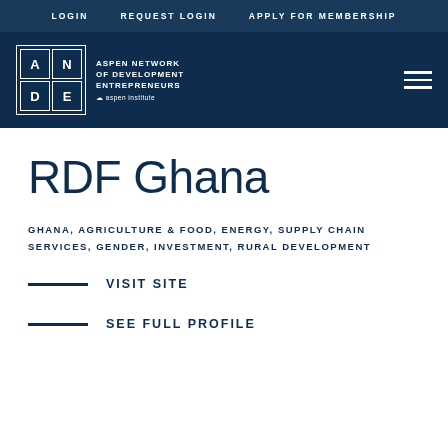LOGIN   REQUEST LOGIN   APPLY FOR MEMBERSHIP
[Figure (logo): ANDE – Aspen Network of Development Entrepreneurs, Aspen Institute logo in white on dark navy header]
RDF Ghana
GHANA, AGRICULTURE & FOOD, ENERGY, SUPPLY CHAIN SERVICES, GENDER, INVESTMENT, RURAL DEVELOPMENT
VISIT SITE
SEE FULL PROFILE